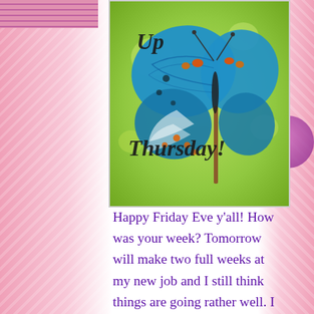[Figure (photo): A blue butterfly with orange spots perched on a twig, with text overlay reading 'Up Thursday!' in italic black font. Green blurred background.]
Happy Friday Eve y'all! How was your week? Tomorrow will make two full weeks at my new job and I still think things are going rather well. I honestly have not done great with blogs other than my typical Monday, Thursday, and Friday posts, but I am still going to try harder next week. It has been challenging because last week I learned one way of doing my job and this week